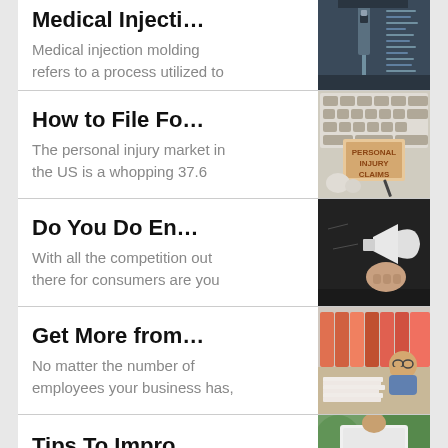Medical injection molding refers to a process utilized to
The personal injury market in the US is a whopping 37.6
With all the competition out there for consumers are you
No matter the number of employees your business has,
If you feel like your business is